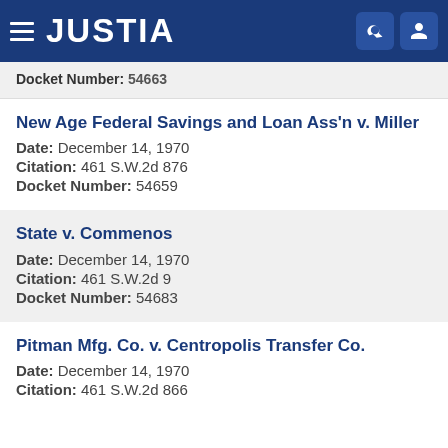JUSTIA
Docket Number: 54663
New Age Federal Savings and Loan Ass'n v. Miller
Date: December 14, 1970
Citation: 461 S.W.2d 876
Docket Number: 54659
State v. Commenos
Date: December 14, 1970
Citation: 461 S.W.2d 9
Docket Number: 54683
Pitman Mfg. Co. v. Centropolis Transfer Co.
Date: December 14, 1970
Citation: 461 S.W.2d 866